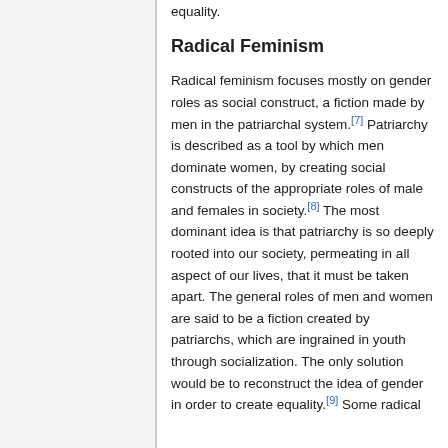equality.
Radical Feminism
Radical feminism focuses mostly on gender roles as social construct, a fiction made by men in the patriarchal system.[7] Patriarchy is described as a tool by which men dominate women, by creating social constructs of the appropriate roles of male and females in society.[8] The most dominant idea is that patriarchy is so deeply rooted into our society, permeating in all aspect of our lives, that it must be taken apart. The general roles of men and women are said to be a fiction created by patriarchs, which are ingrained in youth through socialization. The only solution would be to reconstruct the idea of gender in order to create equality.[9] Some radical